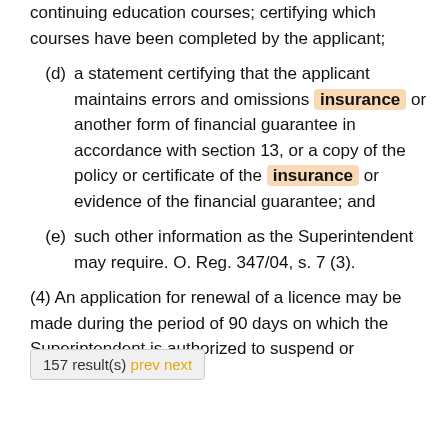continuing education courses; certifying which courses have been completed by the applicant;
(d) a statement certifying that the applicant maintains errors and omissions insurance or another form of financial guarantee in accordance with section 13, or a copy of the policy or certificate of the insurance or evidence of the financial guarantee; and
(e) such other information as the Superintendent may require. O. Reg. 347/04, s. 7 (3).
(4) An application for renewal of a licence may be made during the period of 90 days on which the Superintendent is authorized to suspend or